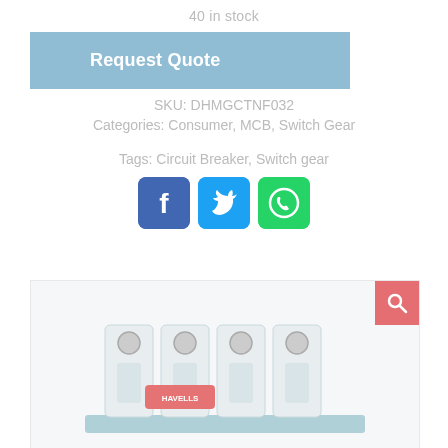40 in stock
Request Quote
SKU: DHMGCTNF032
Categories: Consumer, MCB, Switch Gear
Tags: Circuit Breaker, Switch gear
[Figure (illustration): Social media share icons: Facebook (blue), Twitter (light blue), WhatsApp (green)]
[Figure (photo): Havells MCB (Miniature Circuit Breaker) multi-pole product photo on light background, with pink Havells brand label visible]